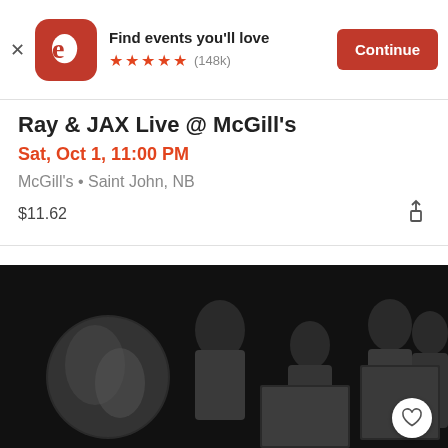[Figure (screenshot): Eventbrite app banner with orange rounded square logo showing stylized 'e', text 'Find events you'll love', 5 orange stars rating and (148k) reviews, and orange 'Continue' button]
Ray & JAX Live @ McGill's
Sat, Oct 1, 11:00 PM
McGill's • Saint John, NB
$11.62
[Figure (photo): Black and white promotional photo of a four-person band posed in a studio setting with painted artwork pieces around them]